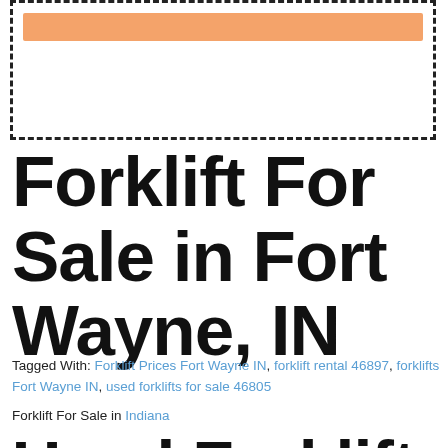[Figure (other): Dashed border box with orange horizontal bar at top, likely a placeholder image or ad banner]
Forklift For Sale in Fort Wayne, IN
Tagged With: Forklift Prices Fort Wayne IN, forklift rental 46897, forklifts Fort Wayne IN, used forklifts for sale 46805
Forklift For Sale in Indiana
Used Forklifts For Sale Fort Wayne,